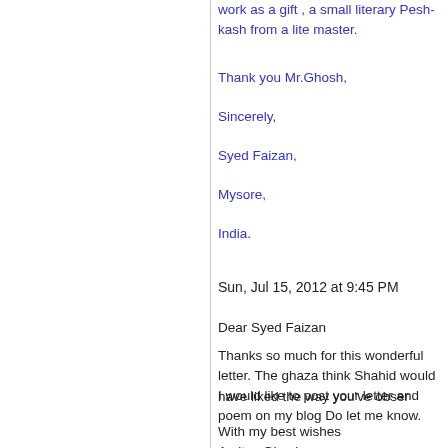work as a gift , a small literary Pesh-kash from a lite master.
Thank you Mr.Ghosh,
Sincerely,
Syed Faizan,
Mysore,
India.
Sun, Jul 15, 2012 at 9:45 PM
Dear Syed Faizan
Thanks so much for this wonderful letter. The ghaza think Shahid would have liked the way you've obser
I would like to post your letter and poem on my blog Do let me know.
With my best wishes
Amitav Ghosh